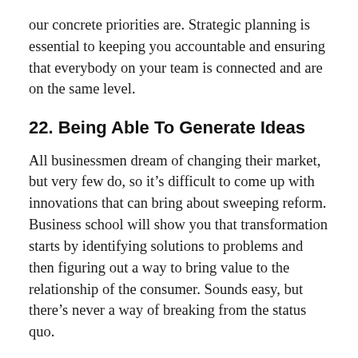our concrete priorities are. Strategic planning is essential to keeping you accountable and ensuring that everybody on your team is connected and are on the same level.
22. Being Able To Generate Ideas
All businessmen dream of changing their market, but very few do, so it’s difficult to come up with innovations that can bring about sweeping reform. Business school will show you that transformation starts by identifying solutions to problems and then figuring out a way to bring value to the relationship of the consumer. Sounds easy, but there’s never a way of breaking from the status quo.